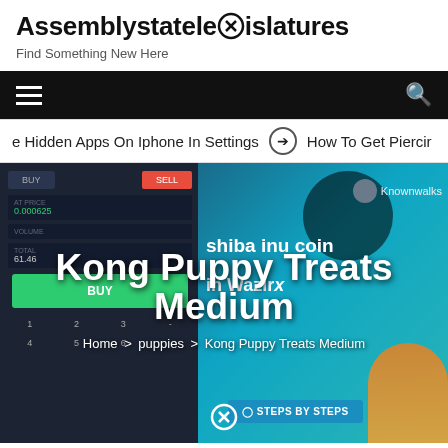Assemblystatelegislatures
Find Something New Here
Navigation bar with hamburger menu and search icon
e Hidden Apps On Iphone In Settings   ⊙   How To Get Piercir
[Figure (screenshot): Hero banner showing a trading app interface on the left (with BUY/SELL buttons, price fields showing 0.000625, total field showing 61.46, a green BUY button, and a numeric keypad) and a teal/blue background on the right with Knownwalks text, 'shiba inu coin in WazirX' text, a dog mascot, and a STEPS BY STEPS button. Overlaid on the image is the large white bold title 'Kong Puppy Treats Medium' and a breadcrumb 'Home > puppies > Kong Puppy Treats Medium'.]